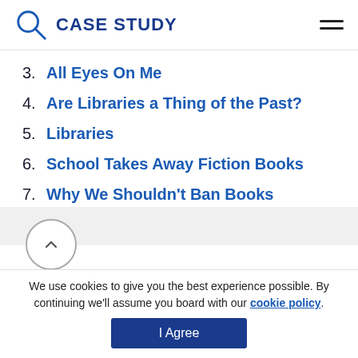CASE STUDY
3. All Eyes On Me
4. Are Libraries a Thing of the Past?
5. Libraries
6. School Takes Away Fiction Books
7. Why We Shouldn't Ban Books
We use cookies to give you the best experience possible. By continuing we'll assume you board with our cookie policy.
I Agree